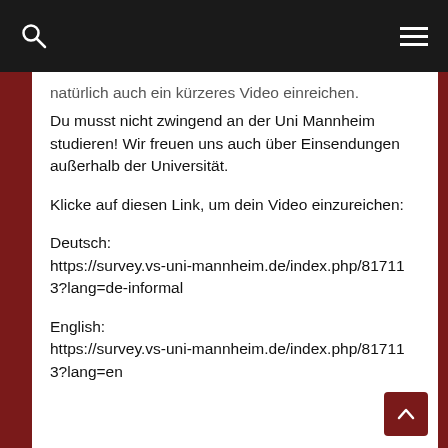natürlich auch ein kürzeres Video einreichen.
Du musst nicht zwingend an der Uni Mannheim studieren! Wir freuen uns auch über Einsendungen außerhalb der Universität.
Klicke auf diesen Link, um dein Video einzureichen:
Deutsch:
https://survey.vs-uni-mannheim.de/index.php/817113?lang=de-informal
English:
https://survey.vs-uni-mannheim.de/index.php/817113?lang=en